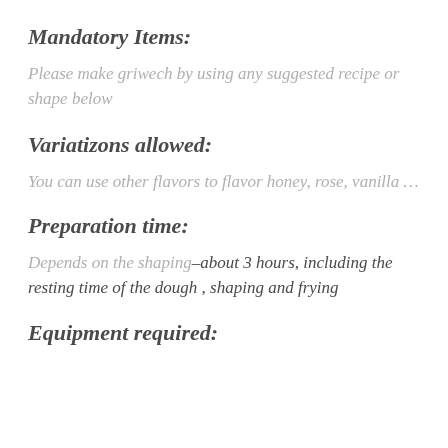Mandatory Items:
Please make griwech by using any suggested recipe or shape below
Variatizons allowed:
You can use other flavors to flavor honey, rose, vanilla …
Preparation time:
Depends on the shaping–about 3 hours, including the resting time of the dough , shaping and frying
Equipment required: